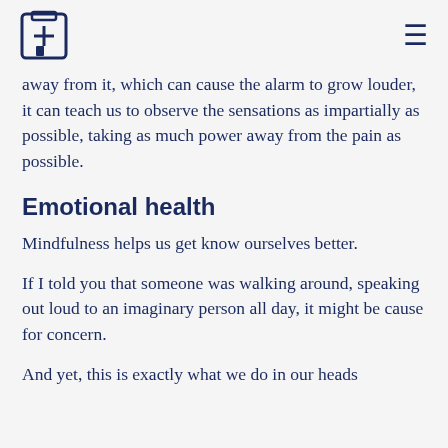[logo] [menu]
away from it, which can cause the alarm to grow louder, it can teach us to observe the sensations as impartially as possible, taking as much power away from the pain as possible.
Emotional health
Mindfulness helps us get know ourselves better.
If I told you that someone was walking around, speaking out loud to an imaginary person all day, it might be cause for concern.
And yet, this is exactly what we do in our heads